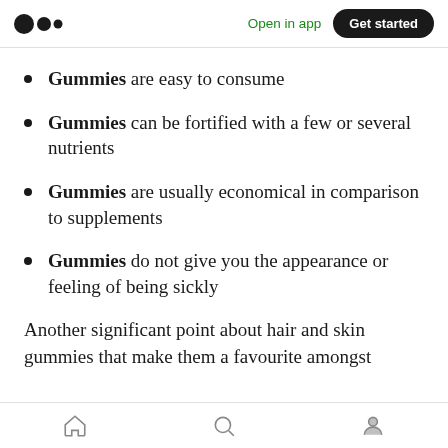Open in app | Get started
Gummies are easy to consume
Gummies can be fortified with a few or several nutrients
Gummies are usually economical in comparison to supplements
Gummies do not give you the appearance or feeling of being sickly
Another significant point about hair and skin gummies that make them a favourite amongst